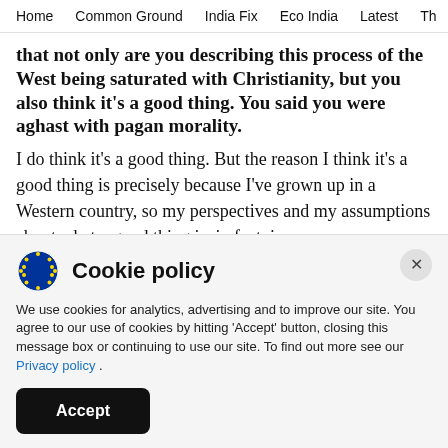Home   Common Ground   India Fix   Eco India   Latest   Th
that not only are you describing this process of the West being saturated with Christianity, but you also think it's a good thing. You said you were aghast with pagan morality.
I do think it's a good thing. But the reason I think it's a good thing is precisely because I've grown up in a Western country, so my perspectives and my assumptions about what a good thing is, in fact, is
Cookie policy
We use cookies for analytics, advertising and to improve our site. You agree to our use of cookies by hitting 'Accept' button, closing this message box or continuing to use our site. To find out more see our Privacy policy .
Accept